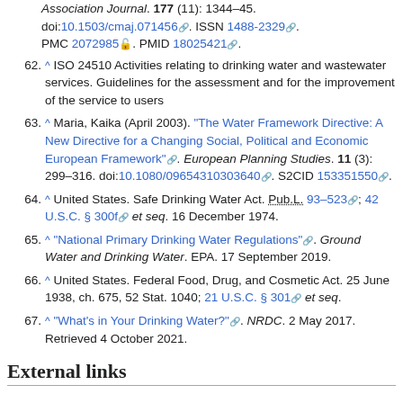62. ^ ISO 24510 Activities relating to drinking water and wastewater services. Guidelines for the assessment and for the improvement of the service to users
63. ^ Maria, Kaika (April 2003). "The Water Framework Directive: A New Directive for a Changing Social, Political and Economic European Framework". European Planning Studies. 11 (3): 299–316. doi:10.1080/09654310303640. S2CID 153351550.
64. ^ United States. Safe Drinking Water Act. Pub.L. 93–523; 42 U.S.C. § 300f et seq. 16 December 1974.
65. ^ "National Primary Drinking Water Regulations". Ground Water and Drinking Water. EPA. 17 September 2019.
66. ^ United States. Federal Food, Drug, and Cosmetic Act. 25 June 1938, ch. 675, 52 Stat. 1040; 21 U.S.C. § 301 et seq.
67. ^ "What's in Your Drinking Water?". NRDC. 2 May 2017. Retrieved 4 October 2021.
External links